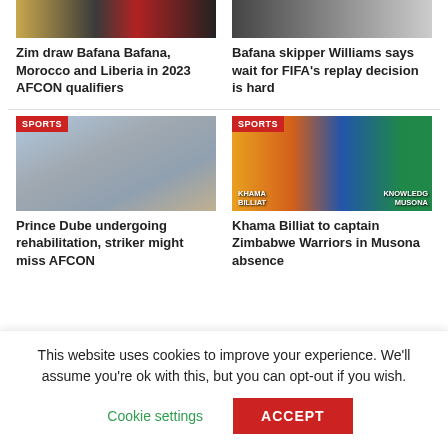[Figure (photo): Top left thumbnail showing Zimbabwe flag and person]
[Figure (photo): Top right thumbnail showing Bafana skipper Williams]
Zim draw Bafana Bafana, Morocco and Liberia in 2023 AFCON qualifiers
Bafana skipper Williams says wait for FIFA's replay decision is hard
[Figure (photo): Sports photo of Prince Dube undergoing rehabilitation with SPORTS badge]
[Figure (photo): Sports photo showing Khama Billiat and Knowledge Musona with SPORTS badge]
Prince Dube undergoing rehabilitation, striker might miss AFCON
Khama Billiat to captain Zimbabwe Warriors in Musona absence
This website uses cookies to improve your experience. We'll assume you're ok with this, but you can opt-out if you wish.
Cookie settings
ACCEPT